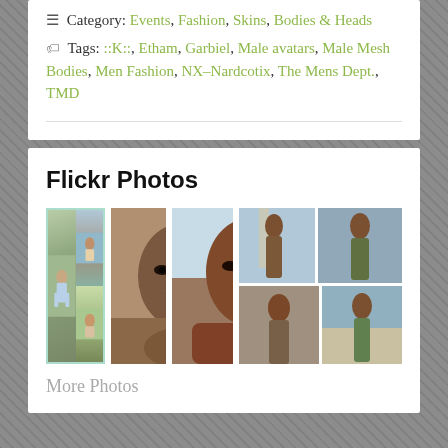☰ Category: Events, Fashion, Skins, Bodies & Heads
🏷 Tags: ::K::, Etham, Garbiel, Male avatars, Male Mesh Bodies, Men Fashion, NX-Nardcotix, The Mens Dept., TMD
Flickr Photos
[Figure (photo): Grid of four small avatar/fashion photos showing male avatars at a beach]
[Figure (photo): Close-up portrait of a dark-skinned male avatar face, shirtless]
[Figure (photo): Close-up portrait of a dark-skinned male avatar face and chest near ocean]
[Figure (photo): Two small photos of male avatars at beach/ocean: one full body front, one back]
More Photos